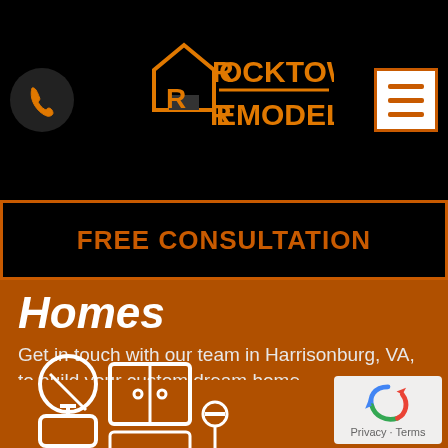[Figure (logo): Rocktown Remodeling logo with house/R icon in orange on black background, with phone button and hamburger menu button]
FREE CONSULTATION
Homes
Get in touch with our team in Harrisonburg, VA, to build your custom dream home.
[Figure (illustration): White line icons of bathroom fixtures: mirror/sink and cabinet/toilet on orange background]
[Figure (other): Google reCAPTCHA widget with Privacy and Terms links]